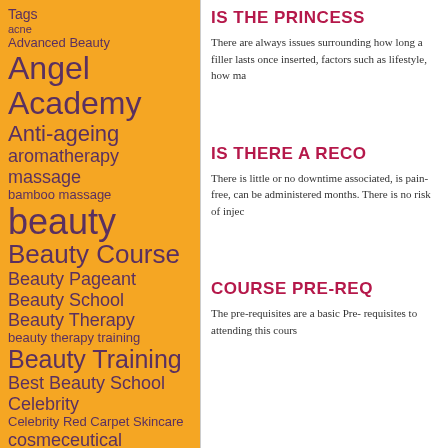Tags
acne
Advanced Beauty
Angel Academy
Anti-ageing
aromatherapy massage
bamboo massage
beauty
Beauty Course
Beauty Pageant
Beauty School
Beauty Therapy
beauty therapy training
Beauty Training
Best Beauty School
Celebrity
Celebrity Red Carpet Skincare
cosmeceutical
Deborah Jay Kelly
eczema
electrical facial
IS THE PRINCESS
There are always issues surroun... how long a filler lasts once inser... factors such as lifestyle, how ma...
IS THERE A RECO
There is little or no downtime as... is pain-free, can be administered... months. There is no risk of injec...
COURSE PRE-REQ
The pre-requisites are a basic Pr... requisites to attending this cours...